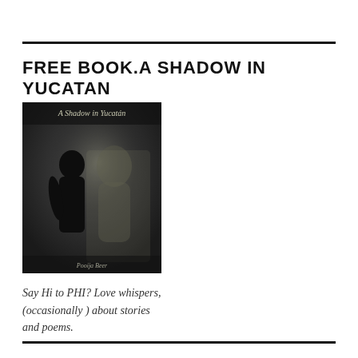FREE BOOK.A SHADOW IN YUCATAN
[Figure (photo): Book cover of 'A Shadow in Yucatan' showing a dark silhouette of a person against a moody background with the title text at top and author name at bottom]
Say Hi to PHI? Love whispers, (occasionally ) about stories and poems.